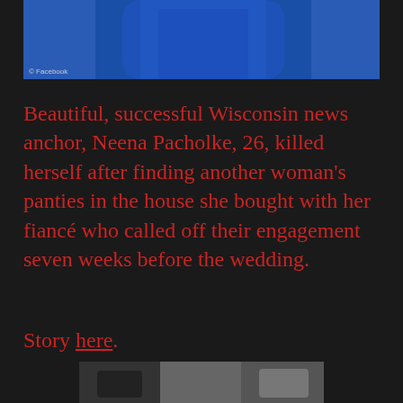[Figure (photo): Photo of a person in a blue top, partially visible from the torso area, with a Facebook copyright watermark in the lower left.]
Beautiful, successful Wisconsin news anchor, Neena Pacholke, 26, killed herself after finding another woman’s panties in the house she bought with her fiancé who called off their engagement seven weeks before the wedding.
Story here.
[Figure (photo): Partial black and white photo visible at the bottom of the page.]